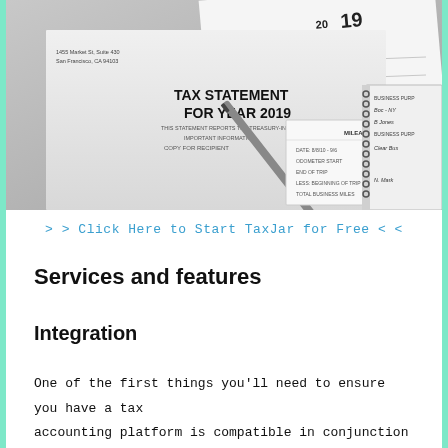[Figure (photo): Photo of tax documents including a Tax Statement for Year 2019, a Form 1099-MISC, a mileage log, and a spiral notebook with business notes, with a pen resting on top.]
> > Click Here to Start TaxJar for Free < <
Services and features
Integration
One of the first things you'll need to ensure you have a tax accounting platform is compatible in conjunction with the sales